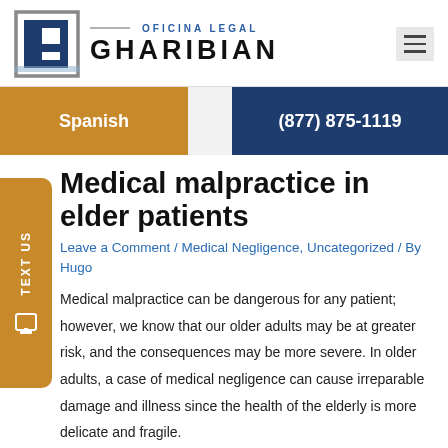[Figure (logo): Oficina Legal Gharibian logo with stylized G icon]
Spanish
(877) 875-1119
Medical malpractice in elder patients
Leave a Comment / Medical Negligence, Uncategorized / By Hugo
Medical malpractice can be dangerous for any patient; however, we know that our older adults may be at greater risk, and the consequences may be more severe. In older adults, a case of medical negligence can cause irreparable damage and illness since the health of the elderly is more delicate and fragile.
Let's start by defining what medical negligence is. This legal term is